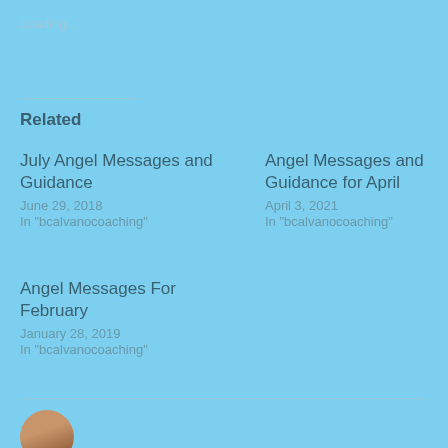Loading...
Related
July Angel Messages and Guidance
June 29, 2018
In "bcalvanocoaching"
Angel Messages and Guidance for April
April 3, 2021
In "bcalvanocoaching"
Angel Messages For February
January 28, 2019
In "bcalvanocoaching"